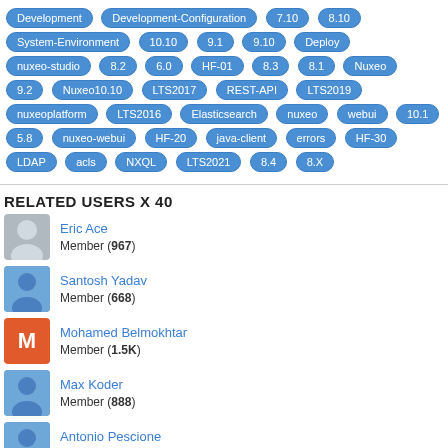Development Development-Configuration 7.10 8.10 System-Environment 10.10 9.1 9.10 Deploy nuxeo-studio 8.2 6.0 HF-01 8.3 8.1 Nuxeo 9.2 Nuxeo10.10 LTS2017 REST-API LTS2019 nuxeoplatform LTS2016 Elasticsearch nuxeo webui 10.1 5.8 nuxeo-webui HF-20 java-client errors HF-30 LDAP acls NXQL LTS2021 8.4 8.X
RELATED USERS X 40
Eric Ace Member (967)
Santosh Yadav Member (668)
Mohamed Belmokhtar Member (1.5K)
Max Koder Member (888)
Antonio Pescione Member (891)